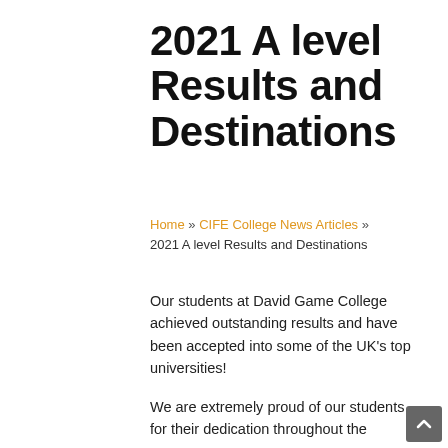2021 A level Results and Destinations
Home » CIFE College News Articles » 2021 A level Results and Destinations
Our students at David Game College achieved outstanding results and have been accepted into some of the UK's top universities!
We are extremely proud of our students for their dedication throughout the